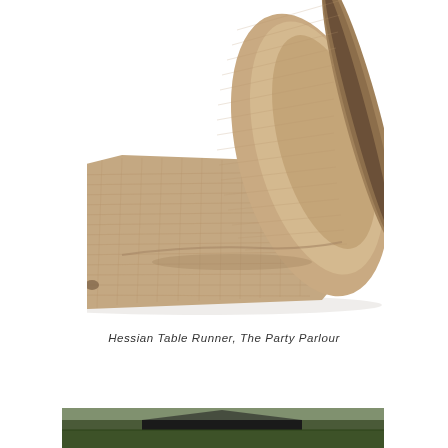[Figure (photo): A rolled-up roll of hessian/burlap fabric, shown close-up on a white background. The woven texture of the natural tan/brown material is clearly visible, with the roll standing in the upper right and the unrolled fabric extending to the lower left.]
Hessian Table Runner, The Party Parlour
[Figure (photo): Partial view of another image at the bottom of the page, showing what appears to be a dark outdoor scene with grass and possibly a tent or structure.]